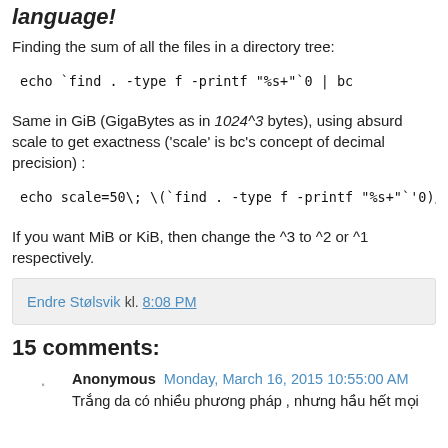language!
Finding the sum of all the files in a directory tree:
Same in GiB (GigaBytes as in 1024^3 bytes), using absurd scale to get exactness ('scale' is bc's concept of decimal precision) :
If you want MiB or KiB, then change the ^3 to ^2 or ^1 respectively.
Endre Stølsvik kl. 8:08 PM
15 comments:
Anonymous  Monday, March 16, 2015 10:55:00 AM
Trắng da có nhiều phương pháp , nhưng hầu hết mọi